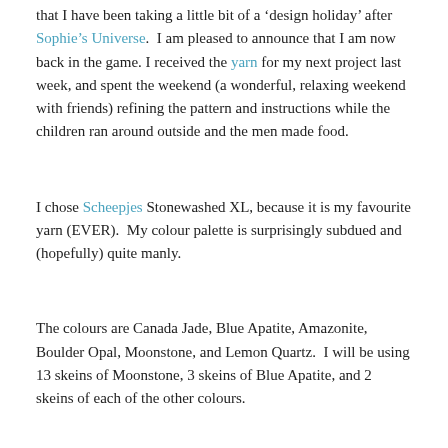that I have been taking a little bit of a ‘design holiday’ after Sophie’s Universe.  I am pleased to announce that I am now back in the game. I received the yarn for my next project last week, and spent the weekend (a wonderful, relaxing weekend with friends) refining the pattern and instructions while the children ran around outside and the men made food.
I chose Scheepjes Stonewashed XL, because it is my favourite yarn (EVER).  My colour palette is surprisingly subdued and (hopefully) quite manly.
The colours are Canada Jade, Blue Apatite, Amazonite, Boulder Opal, Moonstone, and Lemon Quartz.  I will be using 13 skeins of Moonstone, 3 skeins of Blue Apatite, and 2 skeins of each of the other colours.